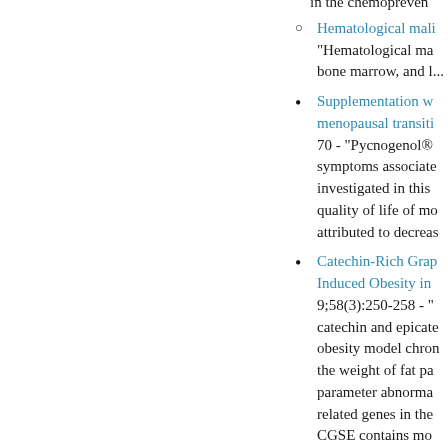in the chemopreven
Hematological mali... - "Hematological ma... bone marrow, and l...
Supplementation w... menopausal transiti... 70 - "Pycnogenol® symptoms associate investigated in this quality of life of mo attributed to decreas
Catechin-Rich Grap Induced Obesity in 9;58(3):250-258 - " catechin and epicate obesity model chron the weight of fat pa parameter abnorma related genes in the CGSE contains mo ameliorates HFD-ir
The effect of grape meta-analysis of ra Aug;111(8):1173-8 significantly lowere difference. 1.54 mr